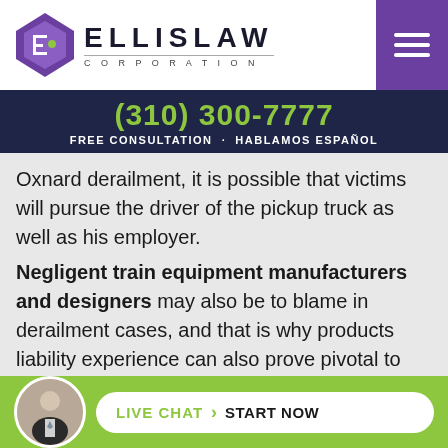[Figure (logo): Ellis Law Corporation logo with purple diamond/shield icon and stylized text ELLISLAW CORPORATION]
(310) 300-7777
FREE CONSULTATION · HABLAMOS ESPAÑOL
Oxnard derailment, it is possible that victims will pursue the driver of the pickup truck as well as his employer.
Negligent train equipment manufacturers and designers may also be to blame in derailment cases, and that is why products liability experience can also prove pivotal to success.
Liability in train accident cases can be extremely comp...nd th...train